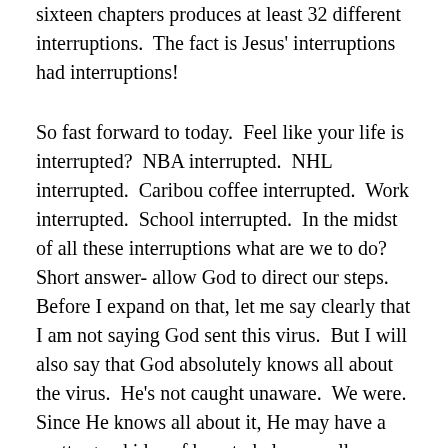sixteen chapters produces at least 32 different interruptions.  The fact is Jesus' interruptions had interruptions!
So fast forward to today.  Feel like your life is interrupted?  NBA interrupted.  NHL interrupted.  Caribou coffee interrupted.  Work interrupted.  School interrupted.  In the midst of all these interruptions what are we to do?  Short answer- allow God to direct our steps.  Before I expand on that, let me say clearly that I am not saying God sent this virus.  But I will also say that God absolutely knows all about the virus.  He's not caught unaware.  We were.  Since He knows all about it, He may have a pretty good idea of how to help us walk through it.  That's where the direction of steps is important.  That's where what feels like an interruption to us, will actually be a course